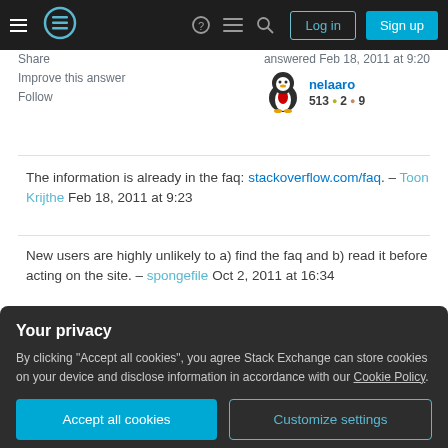Stack Exchange navigation bar with logo, icons, Log in and Sign up buttons
Share
Improve this answer
Follow
answered Feb 18, 2011 at 9:20
nelaaro
513 ●2 ●9
The information is already in the faq: stackoverflow.com/faq. – Toon Krijthe Feb 18, 2011 at 9:23
New users are highly unlikely to a) find the faq and b) read it before acting on the site. – spongefile Oct 2, 2011 at 16:34
Add a comment
Your privacy
By clicking "Accept all cookies", you agree Stack Exchange can store cookies on your device and disclose information in accordance with our Cookie Policy.
Accept all cookies  Customize settings
what to do. The current UI isn't as clear as it could